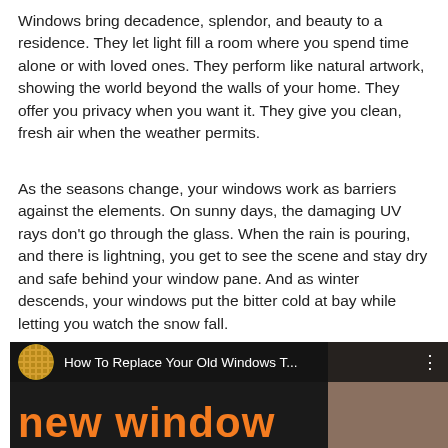Windows bring decadence, splendor, and beauty to a residence. They let light fill a room where you spend time alone or with loved ones. They perform like natural artwork, showing the world beyond the walls of your home. They offer you privacy when you want it. They give you clean, fresh air when the weather permits.
As the seasons change, your windows work as barriers against the elements. On sunny days, the damaging UV rays don't go through the glass. When the rain is pouring, and there is lightning, you get to see the scene and stay dry and safe behind your window pane. And as winter descends, your windows put the bitter cold at bay while letting you watch the snow fall.
[Figure (screenshot): Video thumbnail showing 'How To Replace Your Old Windows T...' with orange bold text 'New Window' and a logo icon on dark background]